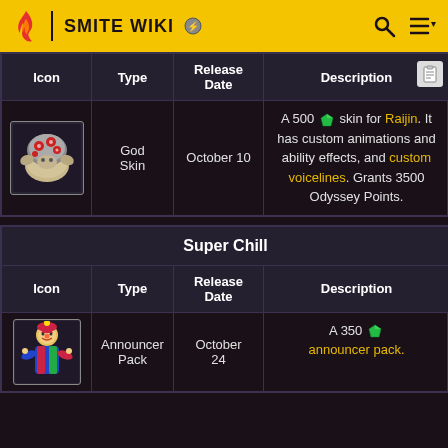SMITE WIKI
| Icon | Type | Release Date | Description |
| --- | --- | --- | --- |
| [image] | God Skin | October 10 | A 500 gem skin for Raijin. It has custom animations and ability effects, and custom voicelines. Grants 3500 Odyssey Points. |
Super Chill
| Icon | Type | Release Date | Description |
| --- | --- | --- | --- |
| [image] | Announcer Pack | October 24 | A 350 gem announcer pack. |